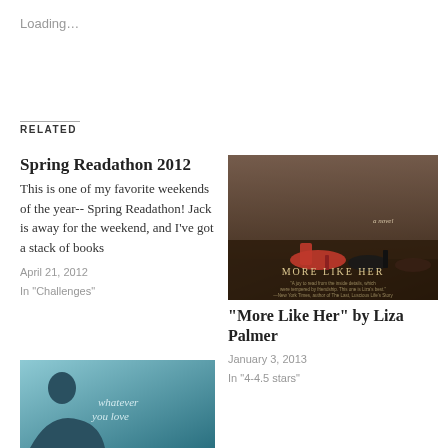Loading…
RELATED
Spring Readathon 2012
This is one of my favorite weekends of the year-- Spring Readathon! Jack is away for the weekend, and I've got a stack of books
April 21, 2012
In "Challenges"
[Figure (photo): Book cover of 'More Like Her' showing women's legs in heels on a wooden floor]
“More Like Her” by Liza Palmer
January 3, 2013
In “4-4.5 stars”
[Figure (photo): Book cover of 'whatever you love' showing a person's silhouette in teal/blue tones]